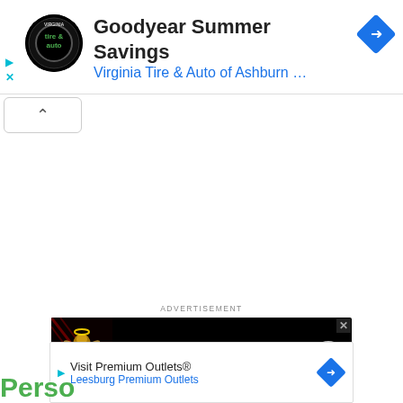[Figure (screenshot): Google Maps ad banner: Goodyear Summer Savings, Virginia Tire & Auto of Ashburn, with logo and navigation diamond icon]
[Figure (screenshot): Collapse/expand chevron button (^) below the top ad bar]
[Figure (screenshot): ADVERTISEMENT label above dark angel number banner ad]
[Figure (screenshot): Dark background banner ad: Angel Number 444 Meaning with angel image and forward arrow]
[Figure (screenshot): Bottom ad bar: Visit Premium Outlets, Leesburg Premium Outlets with navigation diamond, and green 'Perso' text partially visible]